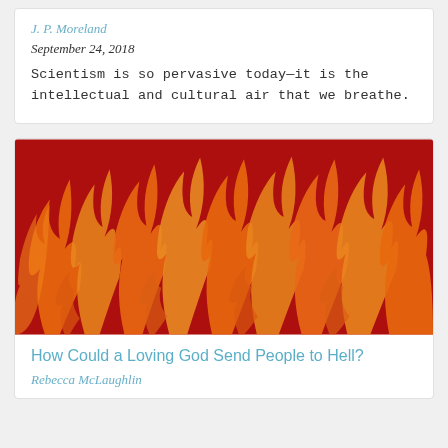J. P. Moreland
September 24, 2018
Scientism is so pervasive today—it is the intellectual and cultural air that we breathe.
[Figure (illustration): Repeating flame pattern illustration with orange flames on a dark red background]
How Could a Loving God Send People to Hell?
Rebecca McLaughlin